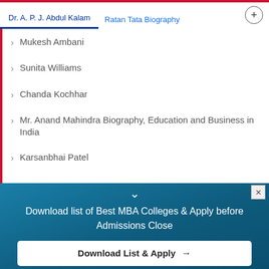Dr. A. P. J. Abdul Kalam | Ratan Tata Biography
Mukesh Ambani
Sunita Williams
Chanda Kochhar
Mr. Anand Mahindra Biography, Education and Business in India
Karsanbhai Patel
Download list of Best MBA Colleges & Apply before Admissions Close
Download List & Apply →